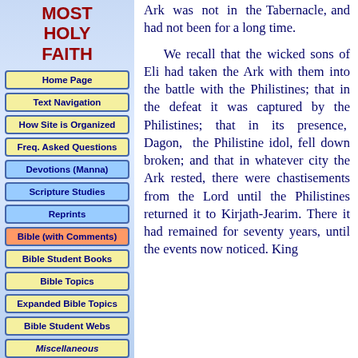MOST HOLY FAITH
Home Page
Text Navigation
How Site is Organized
Freq. Asked Questions
Devotions (Manna)
Scripture Studies
Reprints
Bible (with Comments)
Bible Student Books
Bible Topics
Expanded Bible Topics
Bible Student Webs
Miscellaneous
Ark was not in the Tabernacle, and had not been for a long time.

We recall that the wicked sons of Eli had taken the Ark with them into the battle with the Philistines; that in the defeat it was captured by the Philistines; that in its presence, Dagon, the Philistine idol, fell down broken; and that in whatever city the Ark rested, there were chastisements from the Lord until the Philistines returned it to Kirjath-Jearim. There it had remained for seventy years, until the events now noticed. King